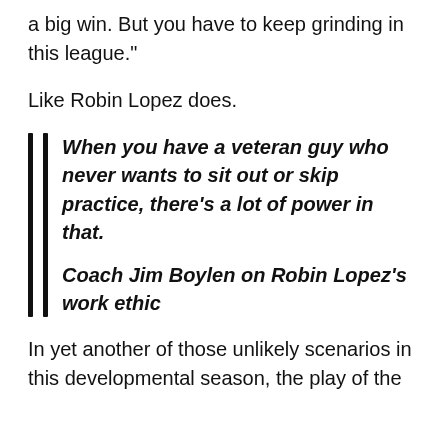a big win. But you have to keep grinding in this league."
Like Robin Lopez does.
When you have a veteran guy who never wants to sit out or skip practice, there's a lot of power in that.

Coach Jim Boylen on Robin Lopez's work ethic
In yet another of those unlikely scenarios in this developmental season, the play of the